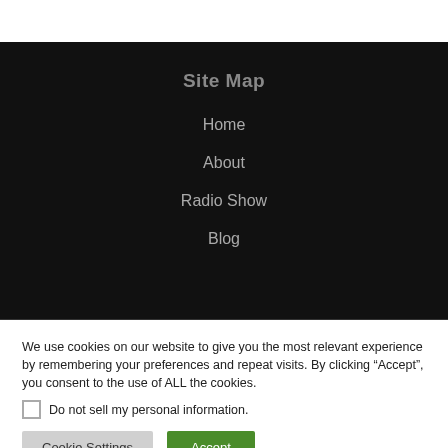Site Map
Home
About
Radio Show
Blog
We use cookies on our website to give you the most relevant experience by remembering your preferences and repeat visits. By clicking “Accept”, you consent to the use of ALL the cookies.
Do not sell my personal information.
Cookie Settings
Accept